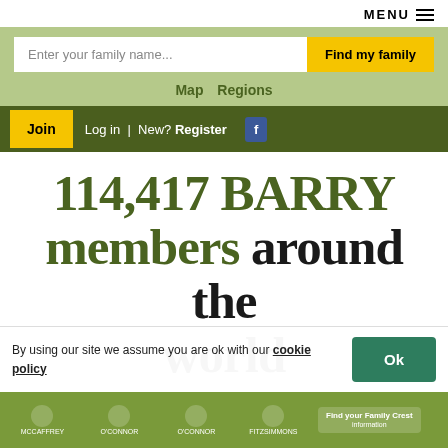MENU
Enter your family name... Find my family
Map  Regions
Join  Log in  | New? Register
114,417 BARRY members around the world
Share
By using our site we assume you are ok with our cookie policy
Ok